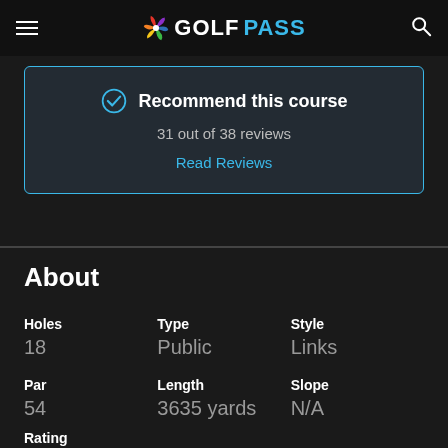GOLFPASS
Recommend this course
31 out of 38 reviews
Read Reviews
About
| Holes | Type | Style |
| --- | --- | --- |
| 18 | Public | Links |
| Par | Length | Slope |
| 54 | 3635 yards | N/A |
Rating